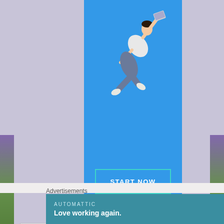[Figure (illustration): Blue vertical advertisement panel with a person leaping/diving diagonally holding a laptop, on a bright blue background, with a 'START NOW' button below]
mad categories
[Figure (screenshot): A dropdown widget labeled 'Select Category' with a chevron arrow, inside a light grey box]
Advertisements
[Figure (infographic): Automattic advertisement banner with teal background, showing 'AUTOMATTIC' in small caps and tagline 'Love working again.' in white bold text]